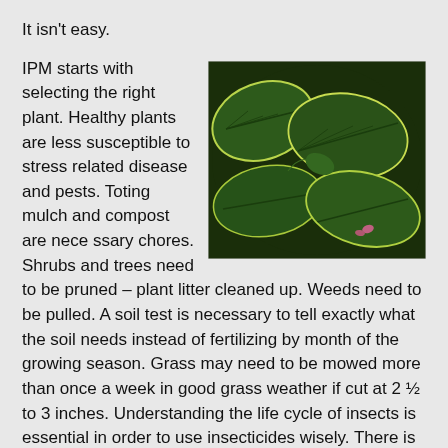It isn't easy.
IPM starts with selecting the right plant. Healthy plants are less susceptible to stress related disease and pests. Toting mulch and compost are necessary chores. Shrubs and trees need to be pruned – plant litter cleaned up. Weeds need to be pulled. A soil test is necessary to tell exactly what the soil needs instead of fertilizing by month of the growing season. Grass may need to be mowed more than once a week in good grass weather if cut at 2 ½ to 3 inches. Understanding the life cycle of insects is essential in order to use insecticides wisely. There is a lot to learn and do.
[Figure (photo): Close-up photograph of dark green leaves with light yellowish-green edges, showing plant foliage against a dark background.]
Penn State University's IPM publications offer loads of information for homeowners.